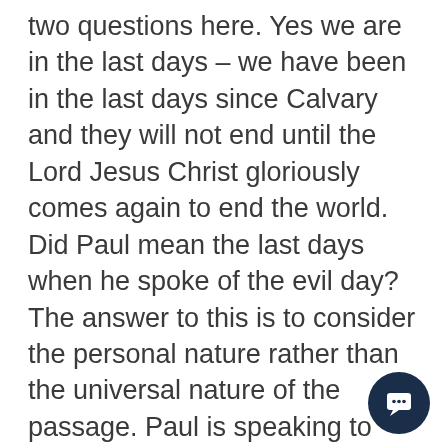two questions here. Yes we are in the last days – we have been in the last days since Calvary and they will not end until the Lord Jesus Christ gloriously comes again to end the world. Did Paul mean the last days when he spoke of the evil day? The answer to this is to consider the personal nature rather than the universal nature of the passage. Paul is speaking to believers in Ephesus. He speaks personally – put your armour on – stand firm as Christ enables you. But he did not tell them to put on their armour WHEN THE LAST DAYS come meaning towards the time the Lord returns. Paul means NOW! The evil day is a term that describes the
[Figure (other): Dark navy circular chat/message button with a speech bubble icon, positioned in the bottom right corner]